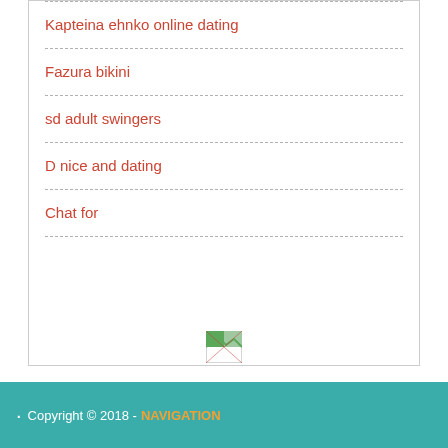Kapteina ehnko online dating
Fazura bikini
sd adult swingers
D nice and dating
Chat for
[Figure (other): Broken/placeholder image icon]
[Figure (other): Broken/placeholder image icon]
· Copyright © 2018 - NAVIGATION